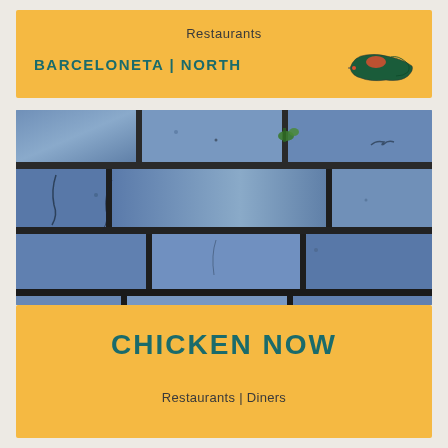Restaurants
BARCELONETA | NORTH
[Figure (map): Small map of Puerto Rico with northern region highlighted in red/orange on a dark green background]
[Figure (photo): Close-up photo of blue-grey brick wall with dark mortar joints and small green plants growing in the cracks]
CHICKEN NOW
Restaurants | Diners